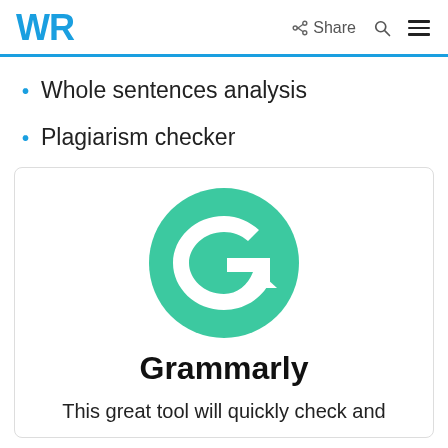WR  Share  🔍  ☰
Whole sentences analysis
Plagiarism checker
[Figure (logo): Grammarly logo: green circle with white G letter and arrow cursor, above the text 'Grammarly' in bold, with description 'This great tool will quickly check and']